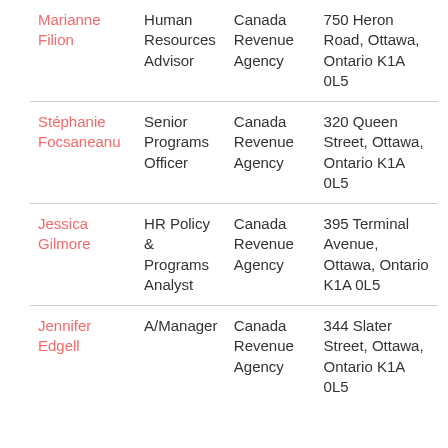| Name | Title | Organization | Address |
| --- | --- | --- | --- |
| Marianne Filion | Human Resources Advisor | Canada Revenue Agency | 750 Heron Road, Ottawa, Ontario K1A 0L5 |
| Stéphanie Focsaneanu | Senior Programs Officer | Canada Revenue Agency | 320 Queen Street, Ottawa, Ontario K1A 0L5 |
| Jessica Gilmore | HR Policy & Programs Analyst | Canada Revenue Agency | 395 Terminal Avenue, Ottawa, Ontario K1A 0L5 |
| Jennifer Edgell | A/Manager | Canada Revenue Agency | 344 Slater Street, Ottawa, Ontario K1A 0L5 |